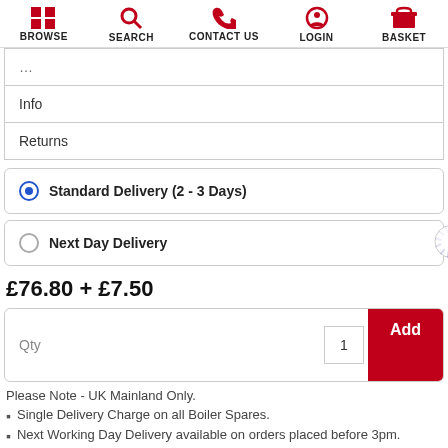BROWSE SEARCH CONTACT US LOGIN BASKET
| Info |
| Returns |
Standard Delivery (2 - 3 Days)
Next Day Delivery
£76.80 + £7.50
Qty  1  Add
Please Note - UK Mainland Only.
Single Delivery Charge on all Boiler Spares.
Next Working Day Delivery available on orders placed before 3pm.
14 Day Returns.